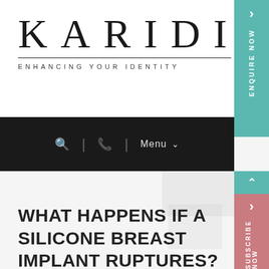[Figure (logo): Karidis clinic logo with tagline 'ENHANCING YOUR IDENTITY']
[Figure (screenshot): Black navigation bar with search icon, phone icon, and Menu dropdown]
WHAT HAPPENS IF A SILICONE BREAST IMPLANT RUPTURES?